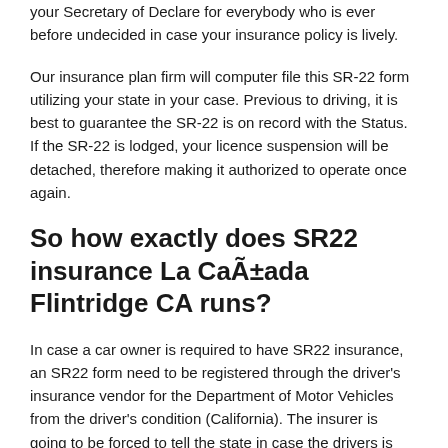your Secretary of Declare for everybody who is ever before undecided in case your insurance policy is lively.
Our insurance plan firm will computer file this SR-22 form utilizing your state in your case. Previous to driving, it is best to guarantee the SR-22 is on record with the Status. If the SR-22 is lodged, your licence suspension will be detached, therefore making it authorized to operate once again.
So how exactly does SR22 insurance La CaÃ±ada Flintridge CA runs?
In case a car owner is required to have SR22 insurance, an SR22 form need to be registered through the driver's insurance vendor for the Department of Motor Vehicles from the driver's condition (California). The insurer is going to be forced to tell the state in case the drivers is absolutely not abiding because of the ordinances and rules that created the driver to obtain the SR22 in the beginning.